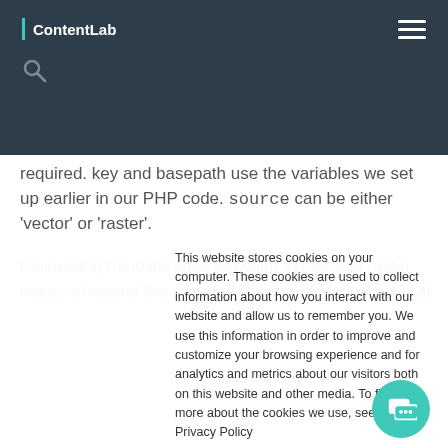ContentLab
required. key and basepath use the variables we set up earlier in our PHP code. source can be either 'vector' or 'raster'.
Discussing the difference between vector and raster maps is beyond the scope of this article, but in general
This website stores cookies on your computer. These cookies are used to collect information about how you interact with our website and allow us to remember you. We use this information in order to improve and customize your browsing experience and for analytics and metrics about our visitors both on this website and other media. To find out more about the cookies we use, see our Privacy Policy